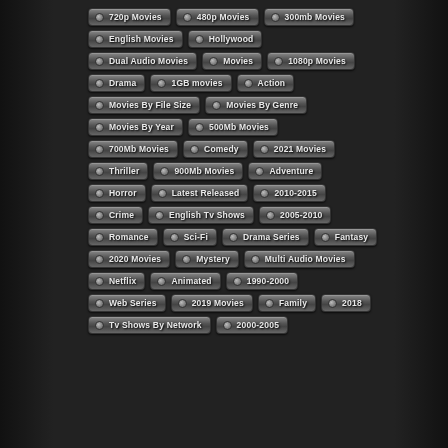720p Movies
480p Movies
300mb Movies
English Movies
Hollywood
Dual Audio Movies
Movies
1080p Movies
Drama
1GB movies
Action
Movies By File Size
Movies By Genre
Movies By Year
500Mb Movies
700Mb Movies
Comedy
2021 Movies
Thriller
900Mb Movies
Adventure
Horror
Latest Released
2010-2015
Crime
English Tv Shows
2005-2010
Romance
Sci-Fi
Drama Series
Fantasy
2020 Movies
Mystery
Multi Audio Movies
Netflix
Animated
1990-2000
Web Series
2019 Movies
Family
2018
Tv Shows By Network
2000-2005